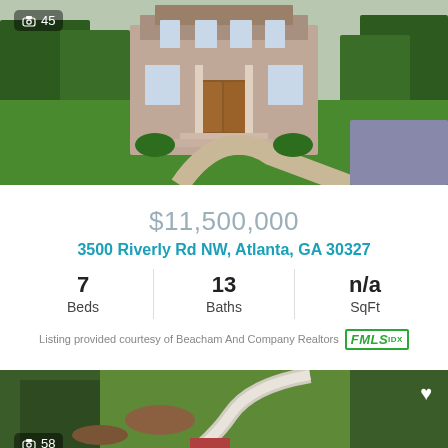[Figure (photo): Aerial/front view of a large brick mansion with manicured lawn, curved driveway, and surrounding trees]
📷 45
$11,500,000
3500 Riverly Rd NW, Atlanta, GA 30327
7 Beds   13 Baths   n/a SqFt
Listing provided courtesy of Beacham And Company Realtors FMLS IDX
[Figure (photo): Aerial drone view of a winding driveway through green lawn and wooded area]
📷 58